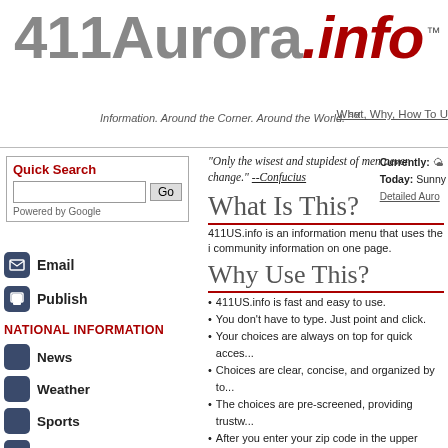411Aurora.info™
Information. Around the Corner. Around the World. ℠
What, Why, How To U
Quick Search
Powered by Google
Email
Publish
NATIONAL INFORMATION
News
Weather
Sports
Opinion/News
Reference
Library
Education
Search
"Only the wisest and stupidest of men never change." --Confucius
Currently:
Today: Sunny
Detailed Auro
What Is This?
411US.info is an information menu that uses the i community information on one page.
Why Use This?
411US.info is fast and easy to use.
You don't have to type. Just point and click.
Your choices are always on top for quick acces...
Choices are clear, concise, and organized by to...
The choices are pre-screened, providing trustw...
After you enter your zip code in the upper right...
It's awesome on a deskop, laptop, and especia...
How To Use 411US.info
8 easy n
411Aurora.info